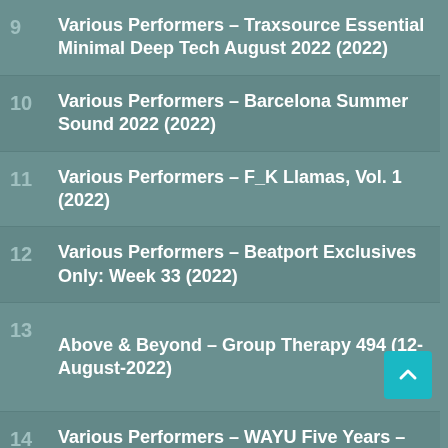9  Various Performers – Traxsource Essential Minimal Deep Tech August 2022 (2022)
10  Various Performers – Barcelona Summer Sound 2022 (2022)
11  Various Performers – F_K Llamas, Vol. 1 (2022)
12  Various Performers – Beatport Exclusives Only: Week 33 (2022)
13  Above & Beyond – Group Therapy 494 (12-August-2022)
14  Various Performers – WAYU Five Years – Part Five (2022)